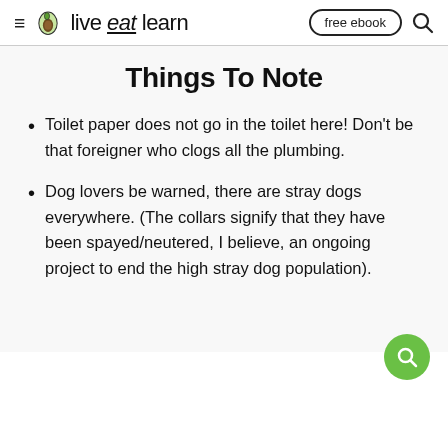≡ live eat learn | free ebook 🔍
Things To Note
Toilet paper does not go in the toilet here! Don't be that foreigner who clogs all the plumbing.
Dog lovers be warned, there are stray dogs everywhere. (The collars signify that they have been spayed/neutered, I believe, an ongoing project to end the high stray dog population).